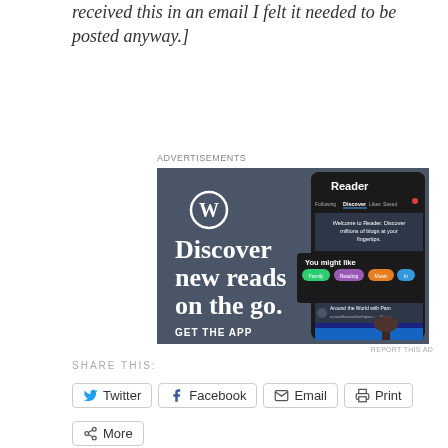received this in an email I felt it needed to be posted anyway.]
Advertisements
[Figure (screenshot): WordPress advertisement showing 'Discover new reads on the go. GET THE APP' with a phone screenshot of the WordPress Reader app interface.]
REPORT THIS AD
SHARE THIS:
Twitter
Facebook
Email
Print
More